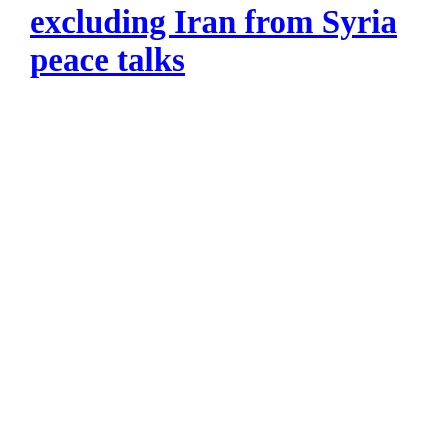excluding Iran from Syria peace talks